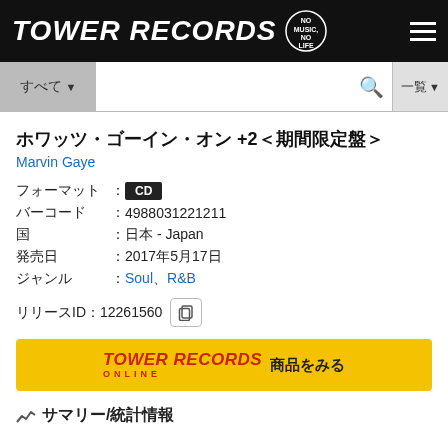TOWER RECORDS
すべて ▼ 　🔍　一覧 ▼
ホワッツ・ゴーイン・オン +2＜期間限定盤＞
Marvin Gaye
| 項目 | : | 値 |
| --- | --- | --- |
| フォーマット | : | CD |
| バーコード | : | 4988031221211 |
| 国 | : | 日本 - Japan |
| 発売日 | : | 2017年5月17日 |
| ジャンル | : | Soul、R&B |
リリースID：12261560
[Figure (logo): Tower Records Online banner with text '商品をみる']
サマリー/統計情報